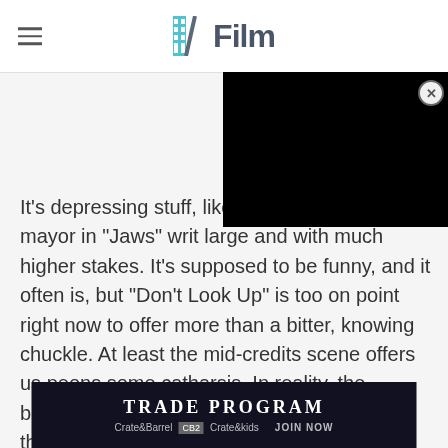/Film
[Figure (screenshot): Black video player overlay in top-right corner with close button (X circle)]
It's depressing stuff, like Ric meltdown to the mayor in "Jaws" writ large and with much higher stakes. It's supposed to be funny, and it often is, but "Don't Look Up" is too on point right now to offer more than a bitter, knowing chuckle. At least the mid-credits scene offers us peons some catharsis. In reality, the billionaires trying to settle other planets for their weird libertarian rich boy parties are on track for roughly the same fate.
[Figure (screenshot): Advertisement banner for Trade Program by Crate&Barrel, CB2, and Crate&kids with JOIN NOW call to action on dark background]